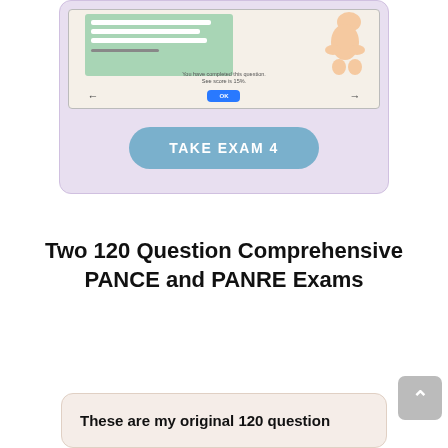[Figure (screenshot): Screenshot of an exam interface showing a green panel with white lines, a baby illustration, navigation arrows, and an OK button. Set within a lavender card with a 'TAKE EXAM 4' button.]
TAKE EXAM 4
Two 120 Question Comprehensive PANCE and PANRE Exams
These are my original 120 question